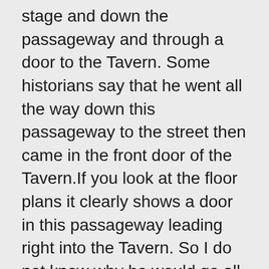stage and down the passageway and through a door to the Tavern. Some historians say that he went all the way down this passageway to the street then came in the front door of the Tavern.If you look at the floor plans it clearly shows a door in this passageway leading right into the Tavern. So I do not know why he would go all the way out when he didn't need to. Secondly If you can go in and out of that door, what prevented a saloon patron from following the passageway and ending up on the stage during the middle of a play? Your thoughts..